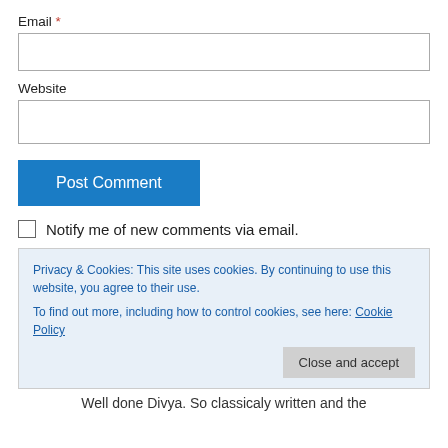Email *
[Figure (other): Email input text field (empty)]
Website
[Figure (other): Website input text field (empty)]
[Figure (other): Post Comment button (blue)]
Notify me of new comments via email.
Privacy & Cookies: This site uses cookies. By continuing to use this website, you agree to their use. To find out more, including how to control cookies, see here: Cookie Policy
[Figure (other): Close and accept button]
Well done Divya. So classicaly written and the